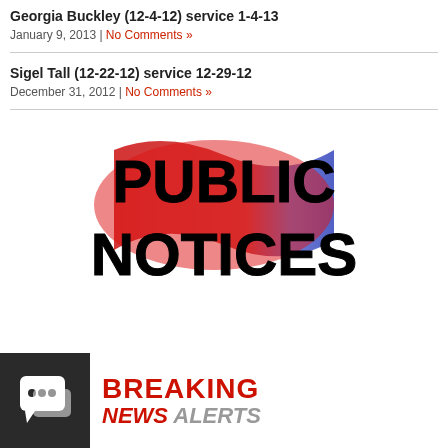Georgia Buckley (12-4-12) service 1-4-13
January 9, 2013 | No Comments »
Sigel Tall (12-22-12) service 12-29-12
December 31, 2012 | No Comments »
[Figure (logo): Public Notices logo with large bold black text 'PUBLIC NOTICES' over a red and blue background]
[Figure (logo): Breaking News Alerts logo with a dark chat bubble icon on left and red/grey bold italic text on right]